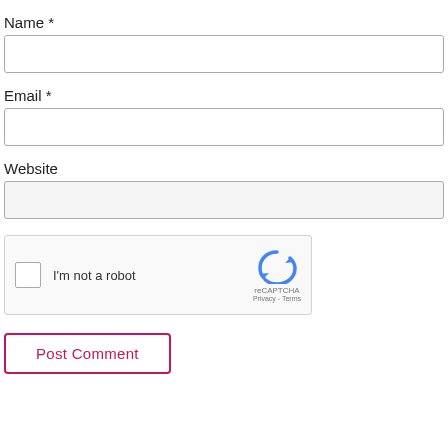Name *
[Figure (screenshot): Text input field for Name]
Email *
[Figure (screenshot): Text input field for Email]
Website
[Figure (screenshot): Text input field for Website]
[Figure (screenshot): reCAPTCHA widget with checkbox labeled I'm not a robot, reCAPTCHA logo, Privacy and Terms links]
[Figure (screenshot): Post Comment button with pink/crimson border and text]